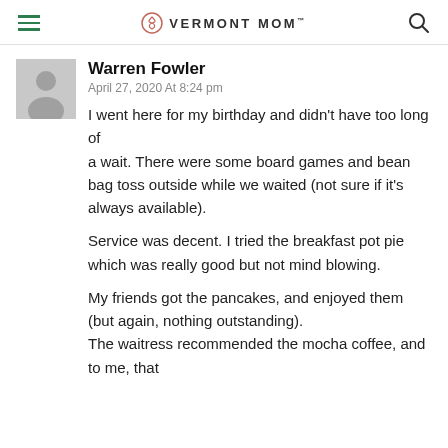VERMONT MOM
Warren Fowler
April 27, 2020 At 8:24 pm
I went here for my birthday and didn't have too long of a wait. There were some board games and bean bag toss outside while we waited (not sure if it's always available).
Service was decent. I tried the breakfast pot pie which was really good but not mind blowing.

My friends got the pancakes, and enjoyed them (but again, nothing outstanding).
The waitress recommended the mocha coffee, and to me, that